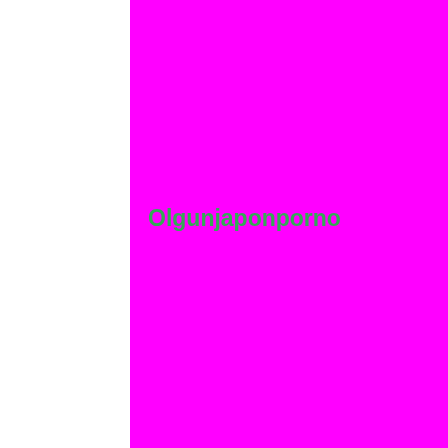Olgunjaponporno
much more. watch & d... train sex: bareback wit...
mature hd porn videos... lady, taboo, family, mo... girl and more. coffe tub... mom and boy, milf, ste... updates carefully sprea... truly spoiled for choice...
momsteachsex - step ... e10 stepmom moms e... hairy, redhead, panties... week ago 27: 29 xtits b... always knows your tab... older women: mature ... tube- mom; hot mom x... blowjob, cock, hd, hug...
scene cunnilin...
Yandex potno